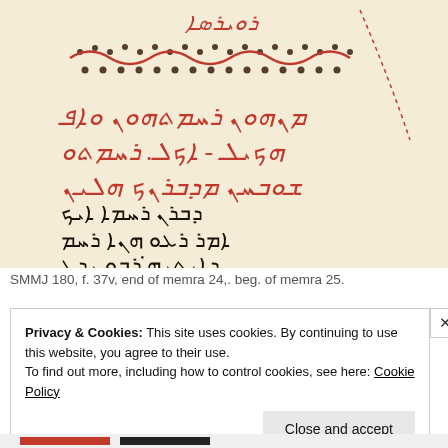[Figure (photo): Photograph of a Syriac manuscript page (SMMJ 180, f. 37v) showing calligraphic text in red and black ink with decorative border elements at the top.]
SMMJ 180, f. 37v, end of memra 24,. beg. of memra 25.
Privacy & Cookies: This site uses cookies. By continuing to use this website, you agree to their use.
To find out more, including how to control cookies, see here: Cookie Policy
Close and accept